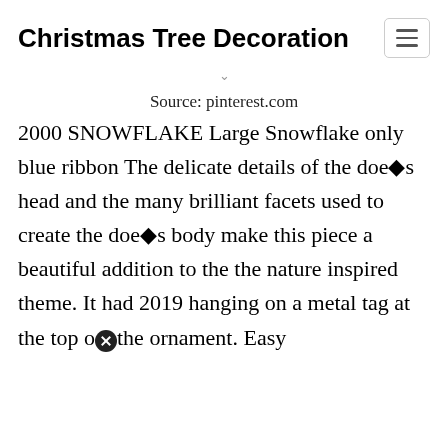Christmas Tree Decoration
Source: pinterest.com
2000 SNOWFLAKE Large Snowflake only blue ribbon The delicate details of the doe◆s head and the many brilliant facets used to create the doe◆s body make this piece a beautiful addition to the the nature inspired theme. It had 2019 hanging on a metal tag at the top of the ornament. Easy